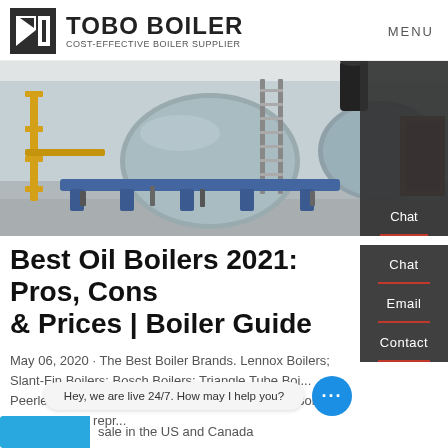TOBO BOILER - COST-EFFECTIVE BOILER SUPPLIER | MENU
[Figure (photo): Industrial boiler equipment in a factory setting — large cylindrical grey boiler vessels on a blue frame, with yellow piping and a ladder in an industrial facility]
Best Oil Boilers 2021: Pros, Cons & Prices | Boiler Guide
May 06, 2020 · The Best Boiler Brands. Lennox Boilers; Slant-Fin Boilers; Bosch Boilers; Triangle Tube Boilers; Peerless Boilers; Westinghouse Boilers; Buderus Boi... The list below repr...
...sale in the US and Canada